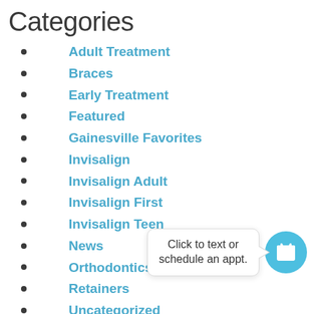Categories
Adult Treatment
Braces
Early Treatment
Featured
Gainesville Favorites
Invisalign
Invisalign Adult
Invisalign First
Invisalign Teen
News
Orthodontics
Retainers
Uncategorized
Meta
Log in
Click to text or schedule an appt.